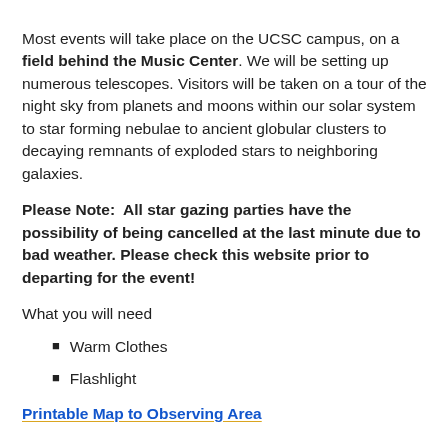Most events will take place on the UCSC campus, on a field behind the Music Center. We will be setting up numerous telescopes. Visitors will be taken on a tour of the night sky from planets and moons within our solar system to star forming nebulae to ancient globular clusters to decaying remnants of exploded stars to neighboring galaxies.
Please Note:  All star gazing parties have the possibility of being cancelled at the last minute due to bad weather. Please check this website prior to departing for the event!
What you will need
Warm Clothes
Flashlight
Printable Map to Observing Area